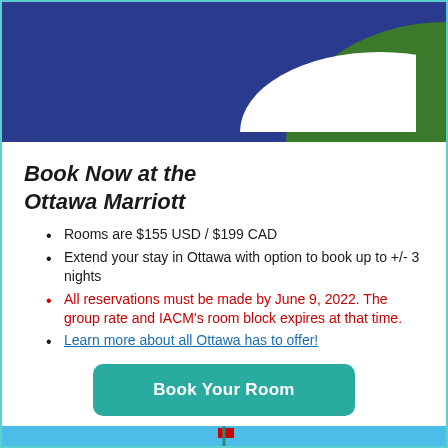[Figure (illustration): Top banner with dark blue background and green swoosh element forming a logo shape]
Book Now at the Ottawa Marriott
Rooms are $155 USD / $199 CAD
Extend your stay in Ottawa with option to book up to +/- 3 nights
All reservations must be made by June 9, 2022. The group rate and IACM's room block expires at that time.
Learn more about all Ottawa has to offer!
Book Your Room
[Figure (photo): Blue sky photo of Parliament building spire with Canadian flag at top]